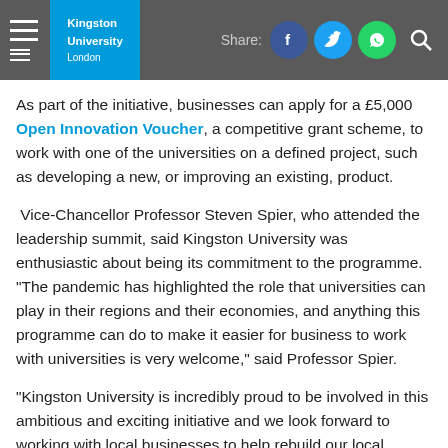Kingston University London — Share header with social icons
As part of the initiative, businesses can apply for a £5,000 Open Innovation Voucher, a competitive grant scheme, to work with one of the universities on a defined project, such as developing a new, or improving an existing, product.
Vice-Chancellor Professor Steven Spier, who attended the leadership summit, said Kingston University was enthusiastic about being its commitment to the programme. "The pandemic has highlighted the role that universities can play in their regions and their economies, and anything this programme can do to make it easier for business to work with universities is very welcome," said Professor Spier.
"Kingston University is incredibly proud to be involved in this ambitious and exciting initiative and we look forward to working with local businesses to help rebuild our local economy and communities," he added.